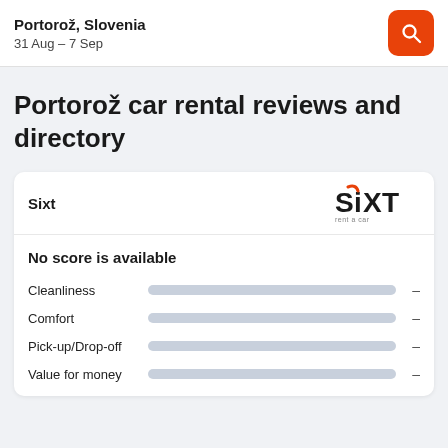Portorož, Slovenia
31 Aug – 7 Sep
Portorož car rental reviews and directory
Sixt
No score is available
Cleanliness –
Comfort –
Pick-up/Drop-off –
Value for money –